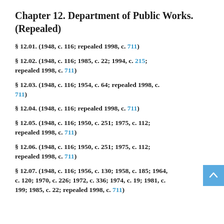Chapter 12. Department of Public Works. (Repealed)
§ 12.01. (1948, c. 116; repealed 1998, c. 711)
§ 12.02. (1948, c. 116; 1985, c. 22; 1994, c. 215; repealed 1998, c. 711)
§ 12.03. (1948, c. 116; 1954, c. 64; repealed 1998, c. 711)
§ 12.04. (1948, c. 116; repealed 1998, c. 711)
§ 12.05. (1948, c. 116; 1950, c. 251; 1975, c. 112; repealed 1998, c. 711)
§ 12.06. (1948, c. 116; 1950, c. 251; 1975, c. 112; repealed 1998, c. 711)
§ 12.07. (1948, c. 116; 1956, c. 130; 1958, c. 185; 1964, c. 120; 1970, c. 226; 1972, c. 336; 1974, c. 19; 1981, c. 199; 1985, c. 22; repealed 1998, c. 711)